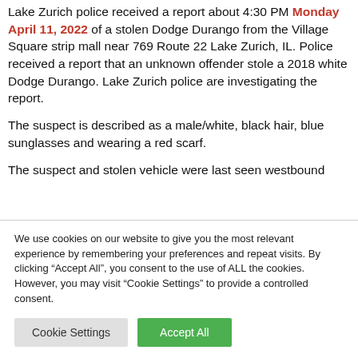Lake Zurich police received a report about 4:30 PM Monday April 11, 2022 of a stolen Dodge Durango from the Village Square strip mall near 769 Route 22 Lake Zurich, IL. Police received a report that an unknown offender stole a 2018 white Dodge Durango. Lake Zurich police are investigating the report.
The suspect is described as a male/white, black hair, blue sunglasses and wearing a red scarf.
The suspect and stolen vehicle were last seen westbound
We use cookies on our website to give you the most relevant experience by remembering your preferences and repeat visits. By clicking "Accept All", you consent to the use of ALL the cookies. However, you may visit "Cookie Settings" to provide a controlled consent.